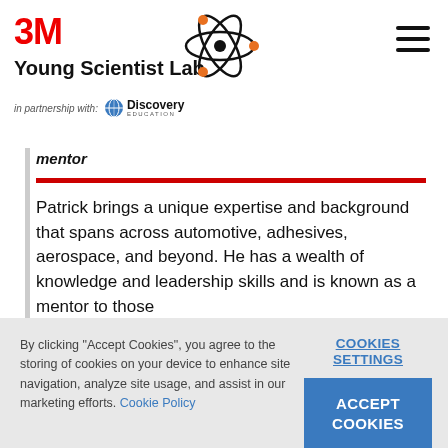3M Young Scientist Lab in partnership with Discovery Education
Patrick brings a unique expertise and background that spans across automotive, adhesives, aerospace, and beyond. He has a wealth of knowledge and leadership skills and is known as a mentor to those
By clicking "Accept Cookies", you agree to the storing of cookies on your device to enhance site navigation, analyze site usage, and assist in our marketing efforts. Cookie Policy
COOKIES SETTINGS
ACCEPT COOKIES